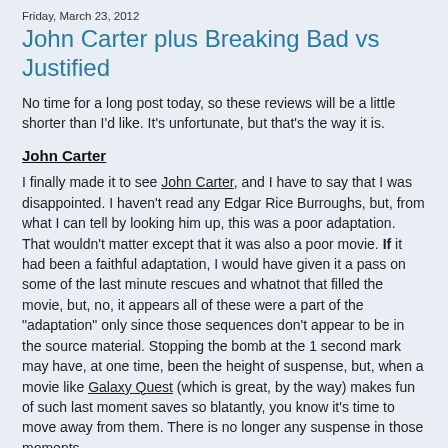Friday, March 23, 2012
John Carter plus Breaking Bad vs Justified
No time for a long post today, so these reviews will be a little shorter than I'd like. It's unfortunate, but that's the way it is.
John Carter
I finally made it to see John Carter, and I have to say that I was disappointed. I haven't read any Edgar Rice Burroughs, but, from what I can tell by looking him up, this was a poor adaptation. That wouldn't matter except that it was also a poor movie. If it had been a faithful adaptation, I would have given it a pass on some of the last minute rescues and whatnot that filled the movie, but, no, it appears all of these were a part of the "adaptation" only since those sequences don't appear to be in the source material. Stopping the bomb at the 1 second mark may have, at one time, been the height of suspense, but, when a movie like Galaxy Quest (which is great, by the way) makes fun of such last moment saves so blatantly, you know it's time to move away from them. There is no longer any suspense in those moments.